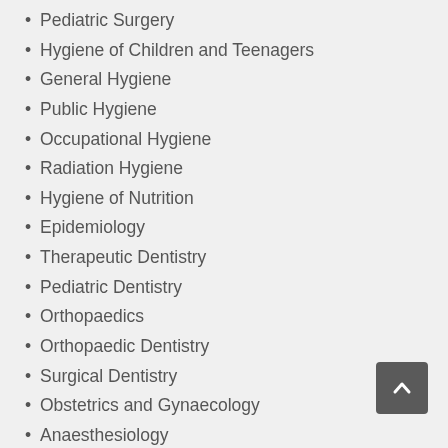Pediatric Surgery
Hygiene of Children and Teenagers
General Hygiene
Public Hygiene
Occupational Hygiene
Radiation Hygiene
Hygiene of Nutrition
Epidemiology
Therapeutic Dentistry
Pediatric Dentistry
Orthopaedics
Orthopaedic Dentistry
Surgical Dentistry
Obstetrics and Gynaecology
Anaesthesiology
Traumatology and Orthopaedics
Ophthalmology
Urology
Surgery